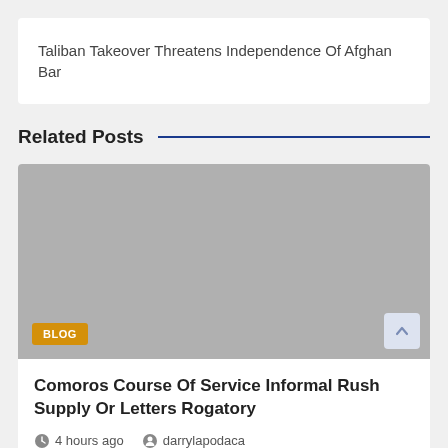Taliban Takeover Threatens Independence Of Afghan Bar
Related Posts
[Figure (photo): Gray placeholder image for a blog post with a BLOG badge in the lower left corner and a scroll-to-top button in the lower right.]
Comoros Course Of Service Informal Rush Supply Or Letters Rogatory
4 hours ago   darrylapodaca